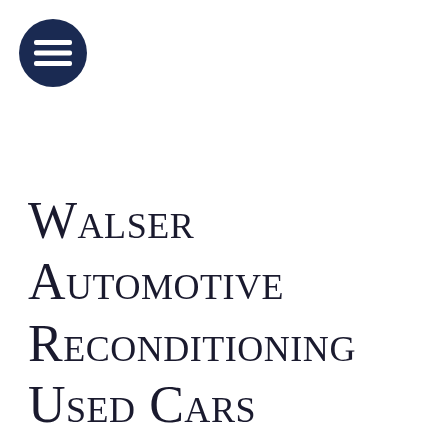[Figure (logo): Dark navy blue circle with three horizontal white lines (hamburger menu icon) in the top-left corner]
Walser Automotive Reconditioning Used Cars